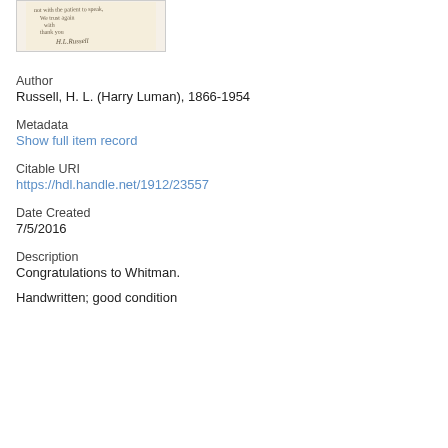[Figure (photo): Partial view of a handwritten letter on aged paper, showing cursive script lines and a signature, displayed in a light frame.]
Author
Russell, H. L. (Harry Luman), 1866-1954
Metadata
Show full item record
Citable URI
https://hdl.handle.net/1912/23557
Date Created
7/5/2016
Description
Congratulations to Whitman.
Handwritten; good condition